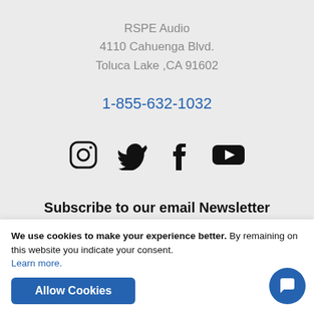RSPE Audio
4110 Cahuenga Blvd.
Toluca Lake ,CA 91602
1-855-632-1032
[Figure (infographic): Social media icons: Instagram, Twitter, Facebook, YouTube]
Subscribe to our email Newsletter
We use cookies to make your experience better. By remaining on this website you indicate your consent. Learn more.
Allow Cookies